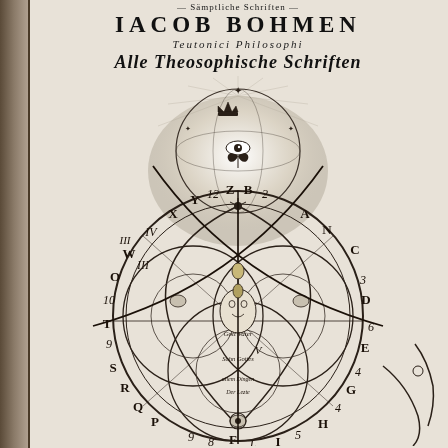IACOB BOHMEN
Teutonici Philosophi
Alle Theosophische Schriften
[Figure (illustration): Theosophical mystical diagram: a large circular wheel with letters A-Z and numbers 1-12 arranged around the rim, overlapping circles forming a Vesica Piscis/Borromean rings pattern, a central eye, crown and stars at top, a face/figure in center, symbolic imagery including celestial and alchemical symbols throughout, rendered in engraved black and white style]